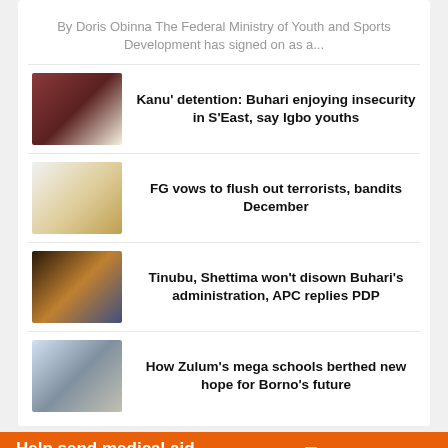By Doris Obinna The Federal Ministry of Youth and Sports Development has signed on as a...
Kanu' detention: Buhari enjoying insecurity in S'East, say Igbo youths
FG vows to flush out terrorists, bandits December
Tinubu, Shettima won't disown Buhari's administration, APC replies PDP
How Zulum's mega schools berthed new hope for Borno's future
[Figure (infographic): Orange advertisement banner for Direct Relief: 'Help send medical aid to Ukraine >>' with Direct Relief logo and parcel icon on right]